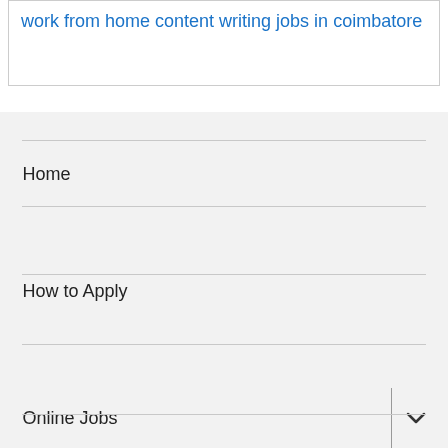work from home content writing jobs in coimbatore
Home
How to Apply
Online Jobs
FAQ
Submit your details
Copyright © 2021 Data Entry Work. All Rights Reserved